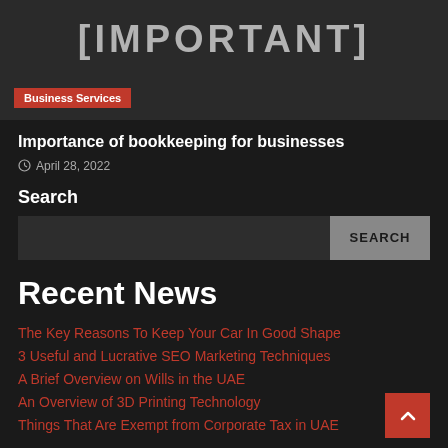[Figure (illustration): Dark banner image with large distressed text reading [IMPORTANT] and a red Business Services badge]
Importance of bookkeeping for businesses
April 28, 2022
Search
Recent News
The Key Reasons To Keep Your Car In Good Shape
3 Useful and Lucrative SEO Marketing Techniques
A Brief Overview on Wills in the UAE
An Overview of 3D Printing Technology
Things That Are Exempt from Corporate Tax in UAE